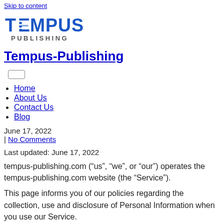Skip to content
[Figure (logo): Tempus Publishing logo — stylized text 'TEMPUS PUBLISHING' in blue with horizontal lines through the E]
Tempus-Publishing
Home
About Us
Contact Us
Blog
June 17, 2022
| No Comments
Last updated: June 17, 2022
tempus-publishing.com (“us”, “we”, or “our”) operates the tempus-publishing.com website (the “Service”).
This page informs you of our policies regarding the collection, use and disclosure of Personal Information when you use our Service.